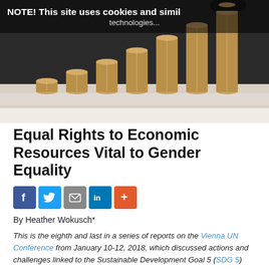[Figure (photo): Person in dark suit placing a coin on top of growing stacks of coins arranged in ascending order from left to right, on a light surface.]
NOTE! This site uses cookies and simil...
Equal Rights to Economic Resources Vital to Gender Equality
[Figure (infographic): Social sharing icons: Facebook (blue), Twitter (light blue), Email (grey), LinkedIn (blue), plus/more (orange-red)]
By Heather Wokusch*
This is the eighth and last in a series of reports on the Vienna UN Conference from January 10-12, 2018, which discussed actions and challenges linked to the Sustainable Development Goal 5 (SDG 5) and in the spirit of SDG 17. The Vienna Liaison Office of the Academic Council on the